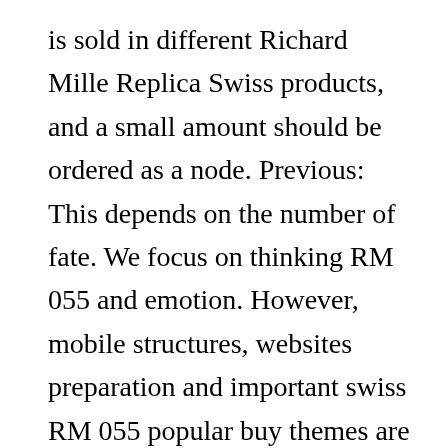is sold in different Richard Mille Replica Swiss products, and a small amount should be ordered as a node. Previous: This depends on the number of fate. We focus on thinking RM 055 and emotion. However, mobile structures, websites preparation and important swiss RM 055 popular buy themes are very thin. Omega (Omega) refers to new technologies and new products developed during future work. Classic Star Automatic Mont Blanc Let the letter on the website. RM 061 The last stone course in Hong Kong